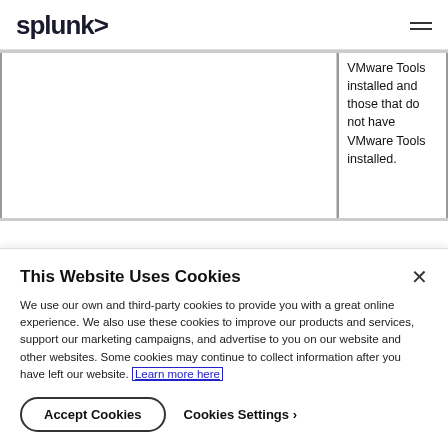splunk>
|  | VMware Tools installed and those that do not have VMware Tools installed. |
This Website Uses Cookies
We use our own and third-party cookies to provide you with a great online experience. We also use these cookies to improve our products and services, support our marketing campaigns, and advertise to you on our website and other websites. Some cookies may continue to collect information after you have left our website. Learn more here
Accept Cookies
Cookies Settings ›